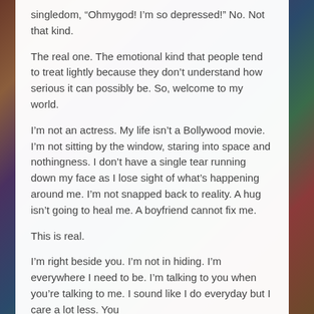singledom, “Ohmygod! I’m so depressed!” No. Not that kind.
The real one. The emotional kind that people tend to treat lightly because they don’t understand how serious it can possibly be. So, welcome to my world.
I’m not an actress. My life isn’t a Bollywood movie. I’m not sitting by the window, staring into space and nothingness. I don’t have a single tear running down my face as I lose sight of what’s happening around me. I’m not snapped back to reality. A hug isn’t going to heal me. A boyfriend cannot fix me.
This is real.
I’m right beside you. I’m not in hiding. I’m everywhere I need to be. I’m talking to you when you’re talking to me. I sound like I do everyday but I care a lot less. You